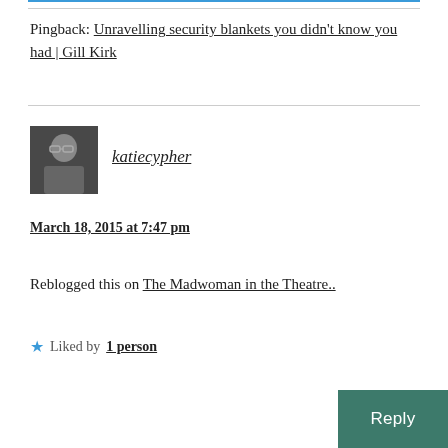Pingback: Unravelling security blankets you didn't know you had | Gill Kirk
[Figure (photo): Avatar photo of katiecypher — a person wearing glasses in a dark setting]
katiecypher
March 18, 2015 at 7:47 pm
Reblogged this on The Madwoman in the Theatre..
Liked by 1 person
Reply